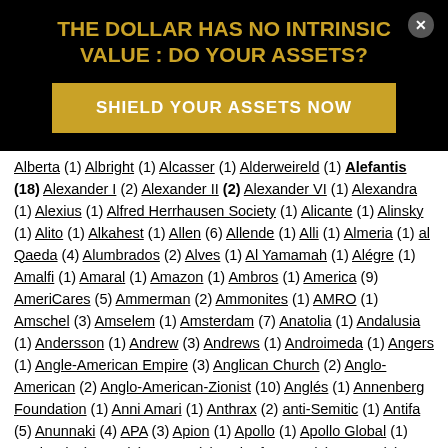THE DOLLAR HAS NO INTRINSIC VALUE : DO YOUR ASSETS?
SHIELD YOUR ASSETS NOW
Alberta (1) Albright (1) Alcasser (1) Alderweireld (1) Alefantis (18) Alexander I (2) Alexander II (2) Alexander VI (1) Alexandra (1) Alexius (1) Alfred Herrhausen Society (1) Alicante (1) Alinsky (1) Alito (1) Alkahest (1) Allen (6) Allende (1) Alli (1) Almeria (1) al Qaeda (4) Alumbrados (2) Alves (1) Al Yamamah (1) Alégre (1) Amalfi (1) Amaral (1) Amazon (1) Ambros (1) America (9) AmeriCares (5) Ammerman (2) Ammonites (1) AMRO (1) Amschel (3) Amselem (1) Amsterdam (7) Anatolia (1) Andalusia (1) Andersson (1) Andrew (3) Andrews (1) Androimeda (1) Angers (1) Angle-American Empire (3) Anglican Church (2) Anglo-American (2) Anglo-American-Zionist (10) Anglés (1) Annenberg Foundation (1) Anni Amari (1) Anthrax (2) anti-Semitic (1) Antifa (5) Anunnaki (4) APA (3) Apion (1) Apollo (1) Apollo Global (1) Aquino (10) ARA (1) Aragon (1) Arch of Agony (1) ARCW (1) Arden (2) Area 51 (2) Argentina (2) Arizona (2) Arizona State University (1) Arkansas (4) Ark of Covenant (1) Armenian (1) Army Corp of Engineers (1) Arnold (1) Arrigo (2)